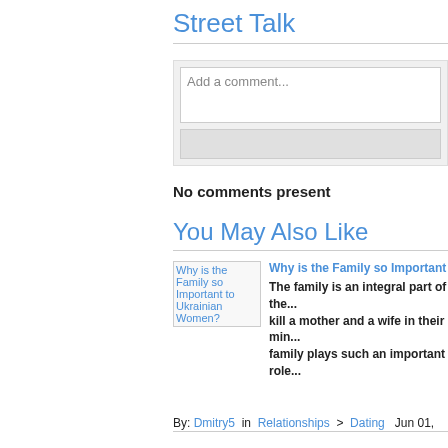Street Talk
Add a comment...
No comments present
You May Also Like
[Figure (screenshot): Thumbnail image placeholder for 'Why is the Family so Important to Ukrainian Women?' article]
Why is the Family so Important to U...
The family is an integral part of the... kill a mother and a wife in their min... family plays such an important role...
By: Dmitry5 in Relationships > Dating Jun 01,